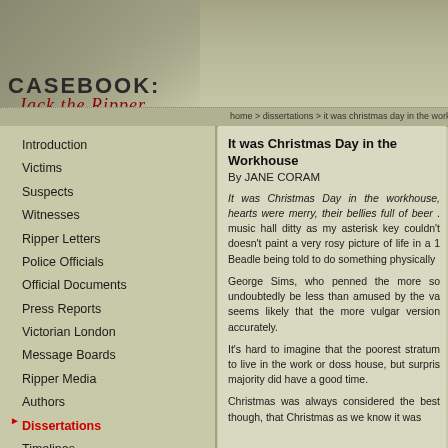[Figure (photo): Sepia-toned header photo of a Victorian street/building facade]
CASEBOOK: Jack the Ripper
home > dissertations > it was christmas day in the workho...
Introduction
Victims
Suspects
Witnesses
Ripper Letters
Police Officials
Official Documents
Press Reports
Victorian London
Message Boards
Ripper Media
Authors
Dissertations
Timelines
Games & Diversions
Photo Archive
Ripper Wiki
Casebook Examiner
Ripper Podcast
About the Casebook
It was Christmas Day in the Workhouse
By JANE CORAM
It was Christmas Day in the workhouse, hearts were merry, their bellies full of beer . music hall ditty as my asterisk key couldn't doesn't paint a very rosy picture of life in a 1 Beadle being told to do something physically
George Sims, who penned the more so undoubtedly be less than amused by the va seems likely that the more vulgar version accurately.
It's hard to imagine that the poorest stratum to live in the work or doss house, but surpris majority did have a good time.
Christmas was always considered the best though, that Christmas as we know it was...